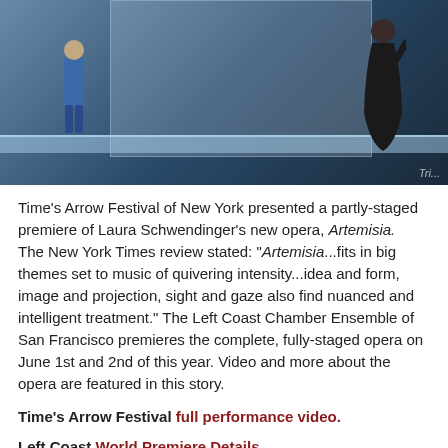[Figure (photo): Stage rehearsal or performance photo showing two figures on a modern stage set with a large translucent backdrop panel, a long table/surface, and blue/grey tones. Watermark 'Tri...' visible bottom right.]
Time's Arrow Festival of New York presented a partly-staged premiere of Laura Schwendinger's new opera, Artemisia.   The New York Times review stated: "Artemisia...fits in big themes set to music of quivering intensity...idea and form, image and projection, sight and gaze also find nuanced and intelligent treatment." The Left Coast Chamber Ensemble of San Francisco premieres the complete, fully-staged opera on June 1st and 2nd of this year. Video and more about the opera are featured in this story.
Time's Arrow Festival full performance video.
Left Coast World Premiere Details.
About the Opera
Artemisia, An Opera on the life of Artemisia Gentileschi
Composed by Laura Schwendinger